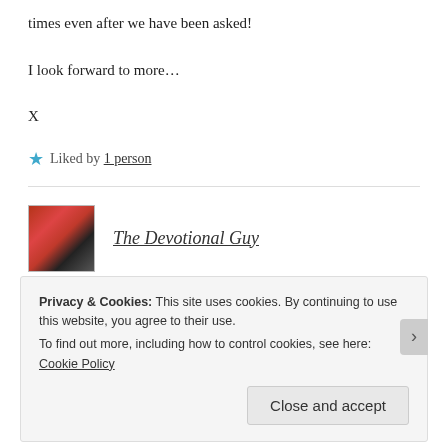times even after we have been asked!
I look forward to more…
X
★ Liked by 1 person
[Figure (photo): Avatar photo of The Devotional Guy — man with beard in front of an American flag]
The Devotional Guy
Privacy & Cookies: This site uses cookies. By continuing to use this website, you agree to their use. To find out more, including how to control cookies, see here: Cookie Policy
Close and accept
REPORT THIS AD